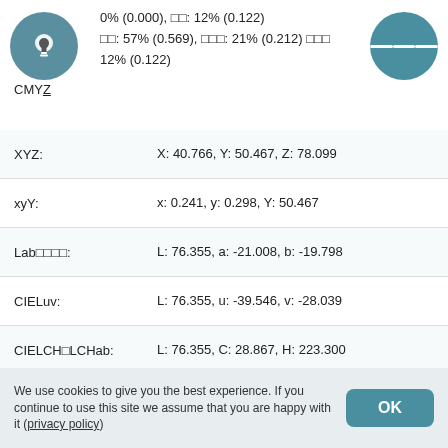[Figure (other): Light bulb icon in teal circle (top left)]
[Figure (other): Hamburger menu icon in teal circle (top right)]
CMYZ
0% (0.000), □□: 12% (0.122)
□□: 57% (0.569), □□□: 21% (0.212) □□□
12% (0.122)
| Label | Value |
| --- | --- |
| XYZ: | X: 40.766, Y: 50.467, Z: 78.099 |
| xyY: | x: 0.241, y: 0.298, Y: 50.467 |
| Lab□□□□: | L: 76.355, a: -21.008, b: -19.798 |
| CIELuv: | L: 76.355, u: -39.546, v: -28.039 |
| CIELCH□LCHab: | L: 76.355, C: 28.867, H: 223.300 |
| CIELUV□LCHuv: | L: 76.355, C: 48.477, H: 215.338 |
| Hunter-Lab: | L: 71.040, a: -21.887, b: -15.454 |
| CIECAM02: | J: 67.164, C: 41.435, h: 217.102, Q:
161.465, M: 36.234, s: 47.372, H: |
We use cookies to give you the best experience. If you continue to use this site we assume that you are happy with it (privacy policy)